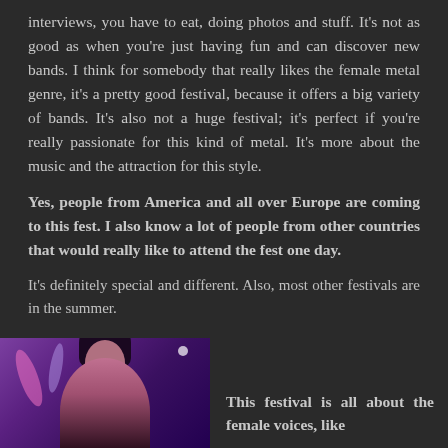interviews, you have to eat, doing photos and stuff. It's not as good as when you're just having fun and can discover new bands. I think for somebody that really likes the female metal genre, it's a pretty good festival, because it offers a big variety of bands. It's also not a huge festival; it's perfect if you're really passionate for this kind of metal. It's more about the music and the attraction for this style.
Yes, people from America and all over Europe are coming to this fest. I also know a lot of people from other countries that would really like to attend the fest one day.
It's definitely special and different. Also, most other festivals are in the summer.
[Figure (photo): Photo of a female performer on stage with purple and pink stage lighting, dark background]
This festival is all about the female voices, like